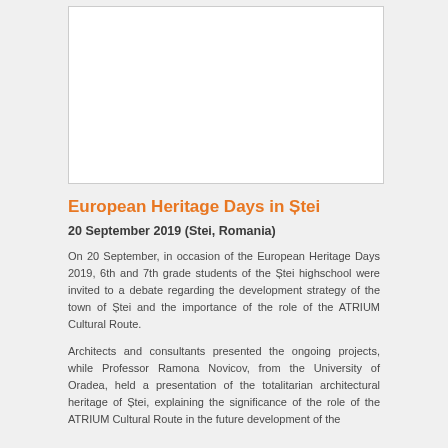[Figure (photo): White rectangular image placeholder area at top of page]
European Heritage Days in Ștei
20 September 2019 (Stei, Romania)
On 20 September, in occasion of the European Heritage Days 2019, 6th and 7th grade students of the Ștei highschool were invited to a debate regarding the development strategy of the town of Ștei and the importance of the role of the ATRIUM Cultural Route.
Architects and consultants presented the ongoing projects, while Professor Ramona Novicov, from the University of Oradea, held a presentation of the totalitarian architectural heritage of Ștei, explaining the significance of the role of the ATRIUM Cultural Route in the future development of the